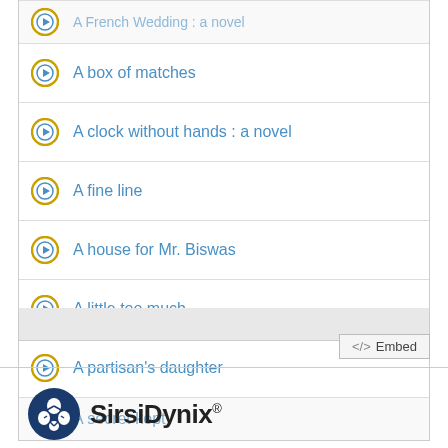A box of matches
A clock without hands : a novel
A fine line
A house for Mr. Biswas
A little too much
A partisan's daughter
A secret kept
[Figure (logo): SirsiDynix logo with circular emblem and company name]
Embed